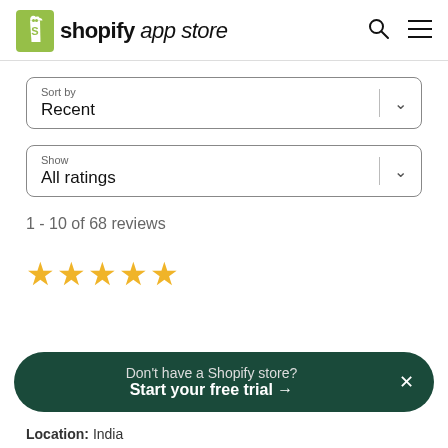shopify app store
[Figure (screenshot): Sort by dropdown with value 'Recent']
[Figure (screenshot): Show dropdown with value 'All ratings']
1 - 10 of 68 reviews
[Figure (infographic): 5 gold star rating icons]
Don't have a Shopify store? Start your free trial →
Location: India